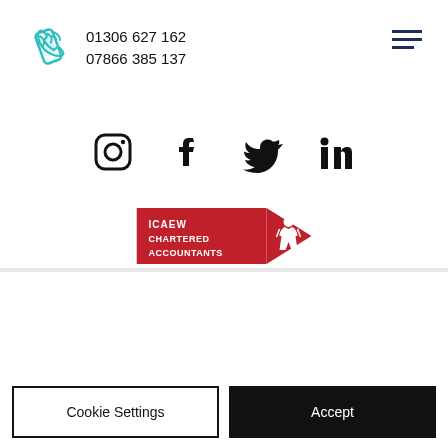[Figure (logo): Teal phone handset icon]
01306 627 162
07866 385 137
[Figure (illustration): Hamburger menu icon with three horizontal lines]
[Figure (illustration): Social media icons: Instagram, Facebook, Twitter, LinkedIn]
[Figure (logo): ICAEW Chartered Accountants logo - red badge with figure]
We use cookies and similar technologies to enable services and functionality on our site and to understand your interaction with our service. By clicking on accept, you agree to our use of such technologies for marketing and analytics. See Privacy Policy